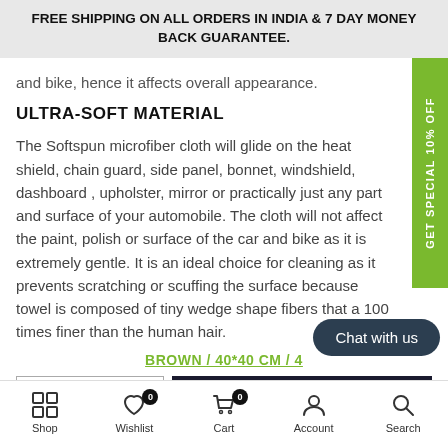FREE SHIPPING ON ALL ORDERS IN INDIA & 7 DAY MONEY BACK GUARANTEE.
and bike, hence it affects overall appearance.
ULTRA-SOFT MATERIAL
The Softspun microfiber cloth will glide on the heat shield, chain guard, side panel, bonnet, windshield, dashboard , upholster, mirror or practically just any part and surface of your automobile. The cloth will not affect the paint, polish or surface of the car and bike as it is extremely gentle. It is an ideal choice for cleaning as it prevents scratching or scuffing the surface because towel is composed of tiny wedge shape fibers that a 100 times finer than the human hair.
BROWN / 40*40 CM / 4
- 1 +
ADD TO CART
Chat with us
Shop   Wishlist   Cart   Account   Search